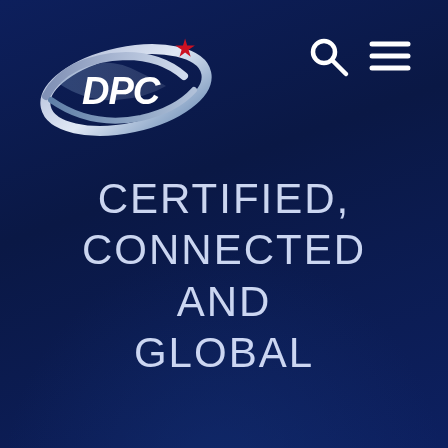[Figure (logo): DPC company logo with silver oval swoosh, red star accent, and white DPC text on dark navy background]
[Figure (other): Navigation icons: magnifying glass search icon and hamburger menu icon, white on dark navy background]
CERTIFIED, CONNECTED AND GLOBAL